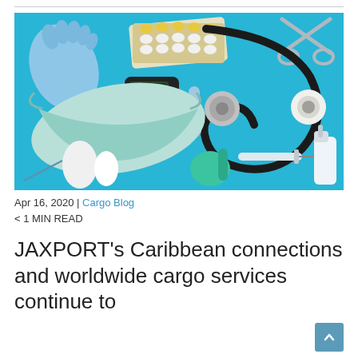[Figure (photo): Flat lay of medical supplies on a bright blue background including surgical gloves, blister packs of pills, a glucose meter, a stethoscope, surgical scissors, medical tape, a syringe, a face mask, bandages, a thermometer, a bulb syringe, and a spray bottle.]
Apr 16, 2020 | Cargo Blog
< 1 MIN READ
JAXPORT's Caribbean connections and worldwide cargo services continue to